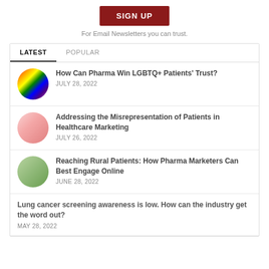[Figure (other): Dark red SIGN UP button]
For Email Newsletters you can trust.
LATEST   POPULAR
How Can Pharma Win LGBTQ+ Patients' Trust? JULY 28, 2022
Addressing the Misrepresentation of Patients in Healthcare Marketing JULY 26, 2022
Reaching Rural Patients: How Pharma Marketers Can Best Engage Online JUNE 28, 2022
Lung cancer screening awareness is low. How can the industry get the word out? MAY 28, 2022